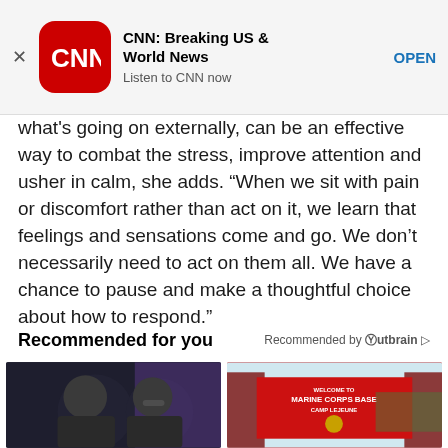[Figure (screenshot): CNN app advertisement banner with red rounded square icon showing CNN logo, title 'CNN: Breaking US & World News', subtitle 'Listen to CNN now', and OPEN button]
what's going on externally, can be an effective way to combat the stress, improve attention and usher in calm, she adds. “When we sit with pain or discomfort rather than act on it, we learn that feelings and sensations come and go. We don’t necessarily need to act on them all. We have a chance to pause and make a thoughtful choice about how to respond.”
Recommended for you
Recommended by Outbrain
[Figure (photo): Two people smiling, dark background with colorful lighting]
[Figure (photo): Welcome to Marine Corps Base Camp Lejeune sign on brick pillars]